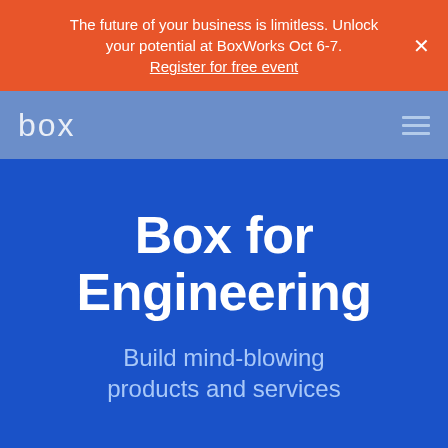The future of your business is limitless. Unlock your potential at BoxWorks Oct 6-7. Register for free event
[Figure (logo): Box logo in white text on blue navigation bar, with hamburger menu icon on the right]
Box for Engineering
Build mind-blowing products and services